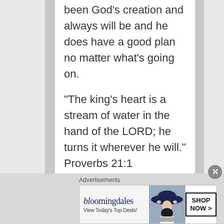been God's creation and always will be and he does have a good plan no matter what's going on.
“The king’s heart is a stream of water in the hand of the LORD; he turns it wherever he will.” Proverbs 21:1
Easier said than
Advertisements
[Figure (other): Bloomingdale's advertisement banner with logo, 'View Today's Top Deals!' text, woman with large blue hat, and 'SHOP NOW >' button]